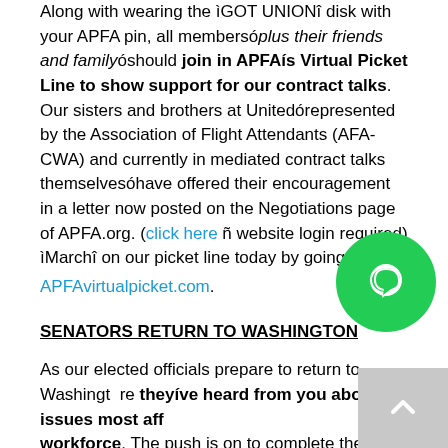Along with wearing the ìGOT UNIONî disk with your APFA pin, all membersó—plus their friends and family—óshould join in APFAís Virtual Picket Line to show support for our contract talks. Our sisters and brothers at Unitedórepresented by the Association of Flight Attendants (AFA-CWA) and currently in mediated contract talks themselvesóhave offered their encouragement in a letter now posted on the Negotiations page of APFA.org. (click here ñ website login required) ìMarchî on our picket line today by going to: APFAvirtualpicket.com.
SENATORS RETURN TO WASHINGTON
As our elected officials prepare to return to Washington, make sure theyíve heard from you about the issues most affecting our workforce. The push is on to complete the long awaited corrections to the Family Leave and Medical Act to include crewmembers (S.1422) and to see an FAA Reauthorization packed with Flight Attendant-friendly provisions (S.1451). Both Senate bills are loaded into APFAís Capwiz account so members can send emails